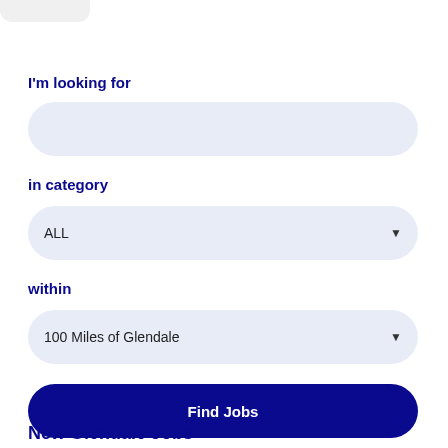I'm looking for
[Figure (other): Search input field (empty, light blue rounded rectangle)]
in category
[Figure (other): Dropdown selector showing 'ALL' with down arrow]
within
[Figure (other): Dropdown selector showing '100 Miles of Glendale' with down arrow]
Find Jobs
New Glendale Jobs